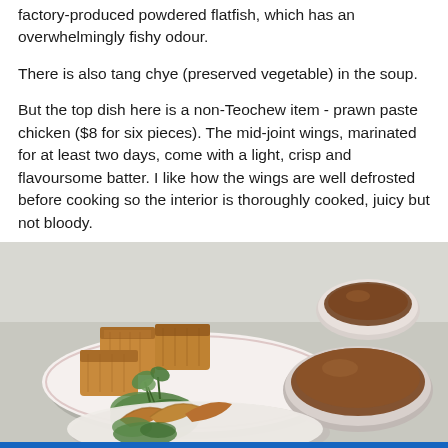factory-produced powdered flatfish, which has an overwhelmingly fishy odour.
There is also tang chye (preserved vegetable) in the soup.
But the top dish here is a non-Teochew item - prawn paste chicken ($8 for six pieces). The mid-joint wings, marinated for at least two days, come with a light, crisp and flavoursome batter. I like how the wings are well defrosted before cooking so the interior is thoroughly cooked, juicy but not bloody.
[Figure (photo): Photo of prawn paste chicken wings and what appears to be other fried items on white plates, with small bowls of dipping sauce, garnished with coriander, on a light grey surface.]